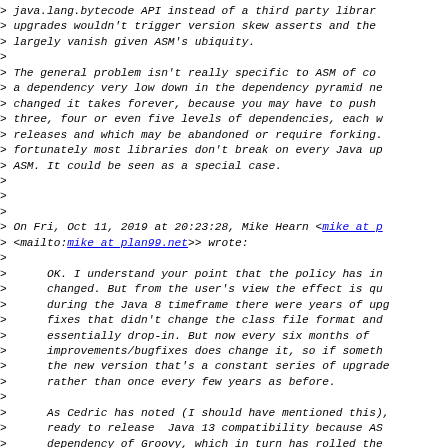> java.lang.bytecode API instead of a third party librar...
> upgrades wouldn't trigger version skew asserts and the
> largely vanish given ASM's ubiquity.
>
> The general problem isn't really specific to ASM of co...
> a dependency very low down in the dependency pyramid ne...
> changed it takes forever, because you may have to push
> three, four or even five levels of dependencies, each w...
> releases and which may be abandoned or require forking.
> fortunately most libraries don't break on every Java up...
> ASM. It could be seen as a special case.
>
>
>
> On Fri, Oct 11, 2019 at 20:23:28, Mike Hearn <mike at p...
> <mailto:mike at plan99.net>> wrote:
>
>     OK. I understand your point that the policy has in
>     changed. But from the user's view the effect is qu...
>     during the Java 8 timeframe there were years of upg...
>     fixes that didn't change the class file format and
>     essentially drop-in. But now every six months of
>     improvements/bugfixes does change it, so if someth...
>     the new version that's a constant series of upgrade...
>     rather than once every few years as before.
>
>     As Cedric has noted (I should have mentioned this),
>     ready to release  Java 13 compatibility because AS...
>     dependency of Groovy, which in turn has rolled the
>     general upgrade which may have regressions. It was...